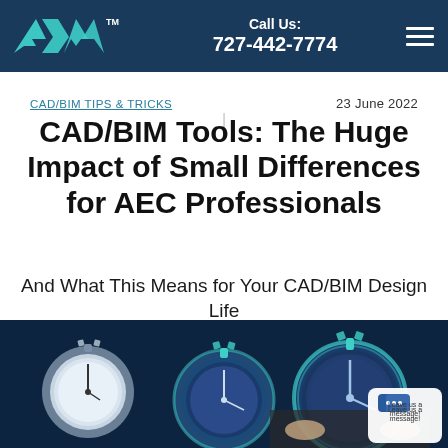AXIOM™  |  Call Us: 727-442-7774
CAD/BIM TIPS & TRICKS  |  23 June 2022
CAD/BIM Tools: The Huge Impact of Small Differences for AEC Professionals
And What This Means for Your CAD/BIM Design Life
[Figure (photo): A person in a suit holding a large glowing blue stopwatch/clock, with two additional stopwatches on either side, against a dark blue background — symbolizing time management in CAD/BIM design.]